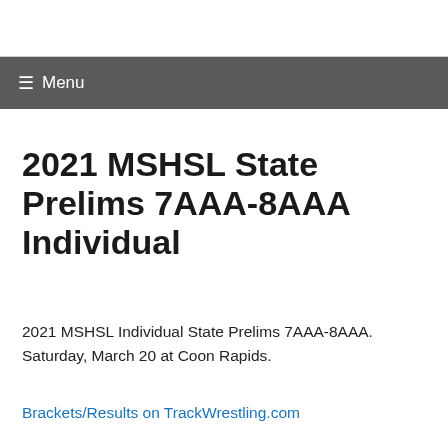≡ Menu
2021 MSHSL State Prelims 7AAA-8AAA Individual
2021 MSHSL Individual State Prelims 7AAA-8AAA. Saturday, March 20 at Coon Rapids.
Brackets/Results on TrackWrestling.com